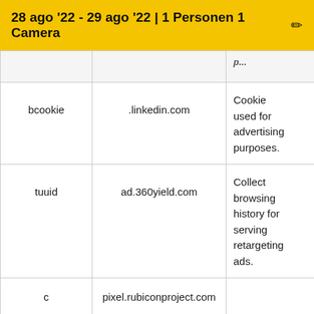28 ago '22 - 29 ago '22 | 1 Personen 1 Camera
|  |  | p... |
| --- | --- | --- |
| bcookie | .linkedin.com | Cookie used for advertising purposes. |
| tuuid | ad.360yield.com | Collect browsing history for serving retargeting ads. |
| c | pixel.rubiconproject.com |  |